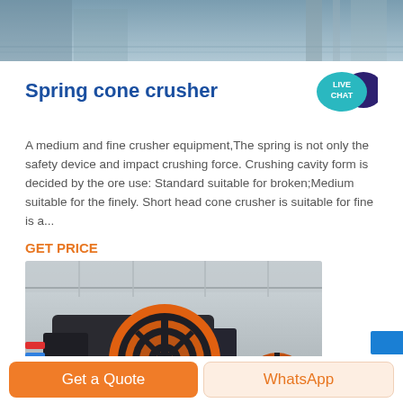[Figure (photo): Top partial image of industrial machinery or water/metal surface, cropped at top of page]
Spring cone crusher
[Figure (illustration): Live Chat speech bubble icon in teal/dark blue]
A medium and fine crusher equipment,The spring is not only the safety device and impact crushing force. Crushing cavity form is decided by the ore use: Standard suitable for broken;Medium suitable for the finely. Short head cone crusher is suitable for fine is a...
GET PRICE
[Figure (photo): Industrial crusher machine with large orange circular flywheel in a factory setting]
Get a Quote
WhatsApp